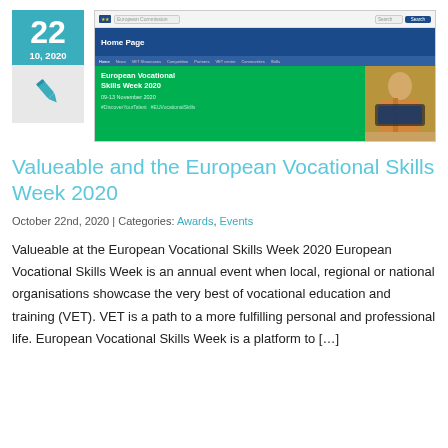[Figure (screenshot): Screenshot of the European Vocational Skills Week 2020 website Home Page, showing blue navigation bar with 'Home Page' text and green hero banner with 'European Vocational Skills Week 2020, 09-13 November 2020' and an image of a person at a computer.]
Valueable and the European Vocational Skills Week 2020
October 22nd, 2020 | Categories: Awards, Events
Valueable at the European Vocational Skills Week 2020 European Vocational Skills Week is an annual event when local, regional or national organisations showcase the very best of vocational education and training (VET). VET is a path to a more fulfilling personal and professional life. European Vocational Skills Week is a platform to […]